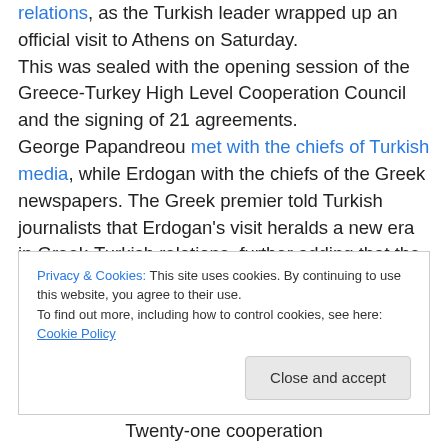relations, as the Turkish leader wrapped up an official visit to Athens on Saturday. This was sealed with the opening session of the Greece-Turkey High Level Cooperation Council and the signing of 21 agreements. George Papandreou met with the chiefs of Turkish media, while Erdogan with the chiefs of the Greek newspapers. The Greek premier told Turkish journalists that Erdogan's visit heralds a new era in Greek-Turkish relations, further adding that the two sides had better overcome their differences...
Privacy & Cookies: This site uses cookies. By continuing to use this website, you agree to their use. To find out more, including how to control cookies, see here: Cookie Policy
Twenty-one cooperation